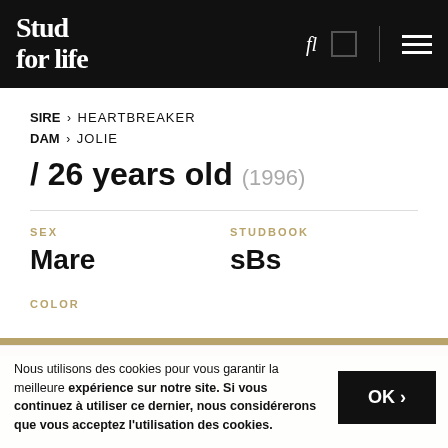Stud for life
SIRE › HEARTBREAKER
DAM › JOLIE
/ 26 years old (1996)
SEX
Mare
STUDBOOK
sBs
COLOR
Nous utilisons des cookies pour vous garantir la meilleure expérience sur notre site. Si vous continuez à utiliser ce dernier, nous considérerons que vous acceptez l'utilisation des cookies.